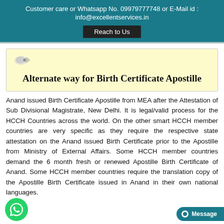Customer care or Whatsapp No. 09979777748 or E-Mail id : info@excellentservices.in
Alternate way for Birth Certificate Apostille
Anand issued Birth Certificate Apostille from MEA after the Attestation of Sub Divisional Magistrate, New Delhi. It is legal/valid process for the HCCH Countries across the world. On the other smart HCCH member countries are very specific as they require the respective state attestation on the Anand issued Birth Certificate prior to the Apostille from Ministry of External Affairs. Some HCCH member countries demand the 6 month fresh or renewed Apostille Birth Certificate of Anand. Some HCCH member countries require the translation copy of the Apostille Birth Certificate issued in Anand in their own national languages.